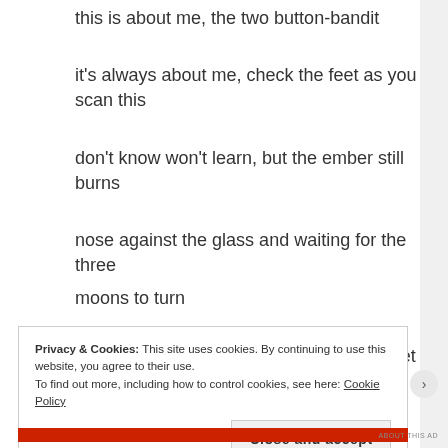this is about me, the two button-bandit
it's always about me, check the feet as you scan this
don't know won't learn, but the ember still burns
nose against the glass and waiting for the three moons to turn
then i'm out again and hands in your wallet
nowhere to land so perhaps time to call it
Privacy & Cookies: This site uses cookies. By continuing to use this website, you agree to their use.
To find out more, including how to control cookies, see here: Cookie Policy
Close and accept